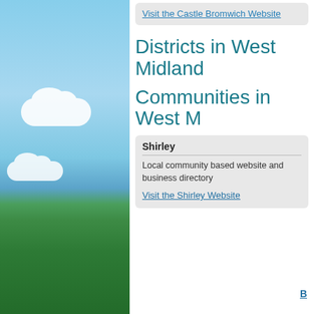[Figure (photo): Landscape photo showing blue sky with white clouds above green grass, used as decorative left-side background]
Visit the Castle Bromwich Website
Districts in West Midland
Communities in West M
Shirley
Local community based website and business directory
Visit the Shirley Website
B